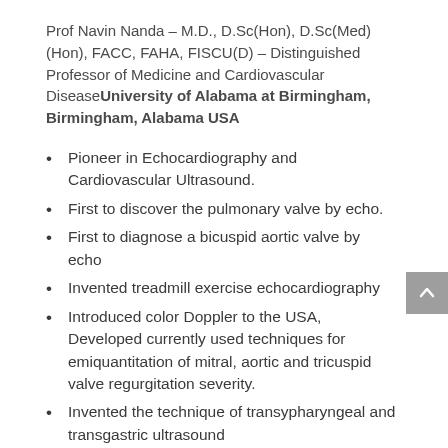Prof Navin Nanda – M.D., D.Sc(Hon), D.Sc(Med)(Hon), FACC, FAHA, FISCU(D) – Distinguished Professor of Medicine and Cardiovascular DiseaseUniversity of Alabama at Birmingham, Birmingham, Alabama USA
Pioneer in Echocardiography and Cardiovascular Ultrasound.
First to discover the pulmonary valve by echo.
First to diagnose a bicuspid aortic valve by echo
Invented treadmill exercise echocardiography
Introduced color Doppler to the USA, Developed currently used techniques for emiquantitation of mitral, aortic and tricuspid valve regurgitation severity.
Invented the technique of transypharyngeal and transgastric ultrasound
Developed the clinical technique of 3-dimensional transesophageal echocardiography
Pioneered use of echocardiography in cardiac pacing